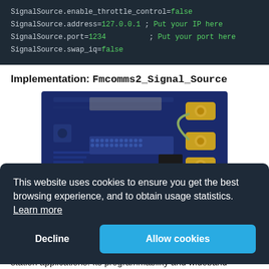SignalSource.enable_throttle_control=false
SignalSource.address=127.0.0.1 ; Put your IP here
SignalSource.port=1234           ; Put your port here
SignalSource.swap_iq=false
Implementation: Fmcomms2_Signal_Source
[Figure (photo): Photo of an FMCOMMS2 SDR board (blue PCB) with gold SMA connectors on the right side and various components visible on the board surface.]
This website uses cookies to ensure you get the best browsing experience, and to obtain usage statistics. Learn more
Decline
Allow cookies
...rd
...base
station applications. Its programmability and wideband